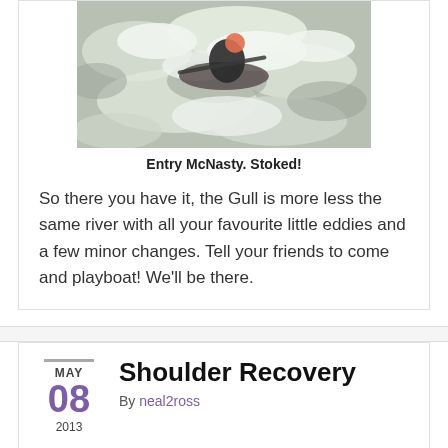[Figure (photo): Kayaker in whitewater rapids, turbulent white water, person in dark wetsuit paddling through rapids]
Entry McNasty. Stoked!
So there you have it, the Gull is more less the same river with all your favourite little eddies and a few minor changes. Tell your friends to come and playboat! We'll be there.
Shoulder Recovery
By neal2ross
So back during the ski season I separated my shoulder